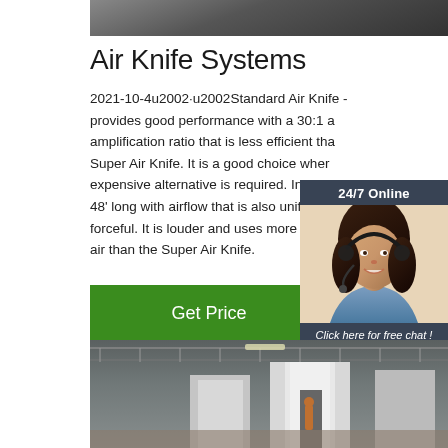[Figure (photo): Top image strip showing dark industrial or product background]
Air Knife Systems
2021-10-4u2002·u2002Standard Air Knife - provides good performance with a 30:1 amplification ratio that is less efficient than the Super Air Knife. It is a good choice when a less expensive alternative is required. In stock up to 48' long with airflow that is also uniform and forceful. It is louder and uses more compressed air than the Super Air Knife.
[Figure (photo): Chat widget with 24/7 Online label, photo of smiling woman with headset, Click here for free chat text, and QUOTATION button]
Get Price
[Figure (photo): Bottom image showing industrial warehouse interior with white structures and workers]